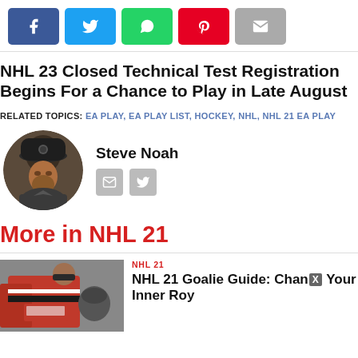[Figure (infographic): Social share buttons row: Facebook, Twitter, WhatsApp, Pinterest, Email]
NHL 23 Closed Technical Test Registration Begins For a Chance to Play in Late August
RELATED TOPICS: EA PLAY, EA PLAY LIST, HOCKEY, NHL, NHL 21 EA PLAY
Steve Noah
[Figure (photo): Author avatar photo of Steve Noah - man wearing a cap]
More in NHL 21
NHL 21
NHL 21 Goalie Guide: Chan[X] Your Inner Roy